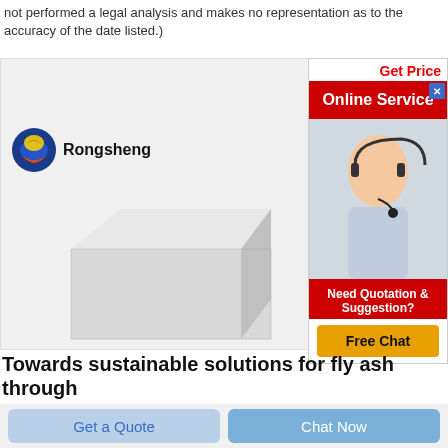not performed a legal analysis and makes no representation as to the accuracy of the date listed.)
[Figure (screenshot): Online Service ad panel with red banner reading 'Online Service', a smiling female agent with headset, 'Need Quotation & Suggestion?' text, and 'Free Chat' yellow button. Also shows 'Get Price' text in red at top.]
[Figure (photo): Rongsheng branded product image showing a white/light gray refractory brick on a light background, with Rongsheng globe logo and brand name at top left.]
Towards sustainable solutions for fly ash through
1.. IntroductionFly ash is a by-product of thermal power plants resulting from the combustion of pulverised coal in the coal-fired furnaces. The concept of sustainable solutions for fly ash is closely linked with technologies with aligned
Get a Quote
Chat Now